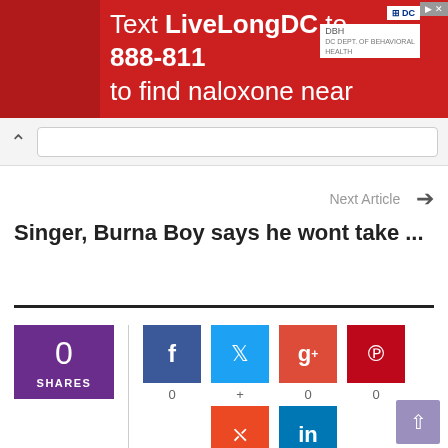[Figure (screenshot): Red advertisement banner: 'Text LiveLongDC to 888-811 to find naloxone near you.' with DC and DBH logos]
[Figure (screenshot): Browser navigation bar with back chevron and URL bar]
Next Article →
Singer, Burna Boy says he wont take ...
0 SHARES
[Figure (infographic): Social share buttons: Facebook (0), Twitter (+), Google+ (0), Pinterest (0), StumbleUpon (0), LinkedIn (0)]